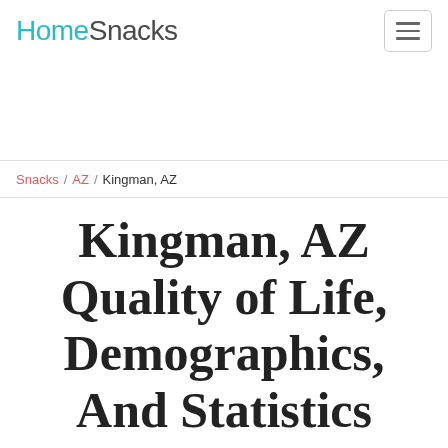HomeSnacks
Snacks / AZ / Kingman, AZ
Kingman, AZ Quality of Life, Demographics, And Statistics
Powered by Schools Cost Of Living ...